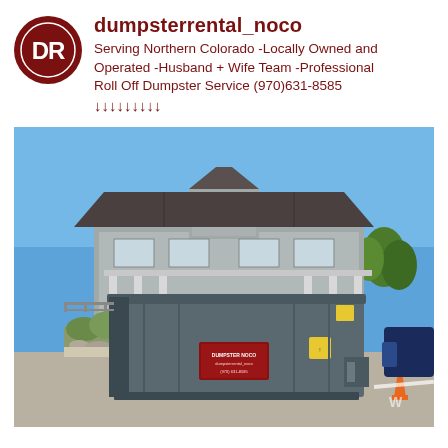dumpsterrental_noco — Serving Northern Colorado -Locally Owned and Operated -Husband + Wife Team -Professional Roll Off Dumpster Service (970)631-8585 ↓↓↓↓↓↓↓↓↓
[Figure (photo): A large gray roll-off dumpster parked in a commercial parking lot in front of a gray suburban building with a peaked cupola. A 'Dumpster Noco' branded sticker is on the side. Blue sky in the background, orange traffic cone visible at lower right.]